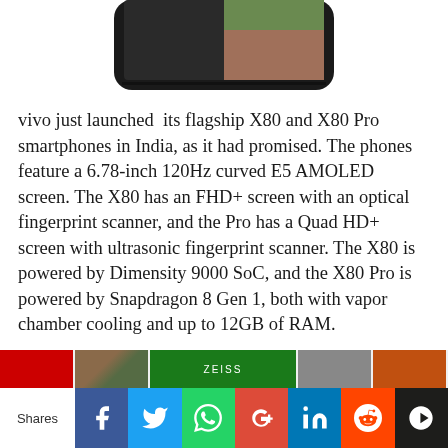[Figure (photo): Bottom portion of a smartphone (vivo X80 or X80 Pro) showing the bottom edge and partial front screen with a person's face visible in the upper right corner of the phone screen]
vivo just launched  its flagship X80 and X80 Pro smartphones in India, as it had promised. The phones feature a 6.78-inch 120Hz curved E5 AMOLED screen. The X80 has an FHD+ screen with an optical fingerprint scanner, and the Pro has a Quad HD+ screen with ultrasonic fingerprint scanner. The X80 is powered by Dimensity 9000 SoC, and the X80 Pro is powered by Snapdragon 8 Gen 1, both with vapor chamber cooling and up to 12GB of RAM.
[Figure (screenshot): Row of thumbnail images at the bottom of the article page]
Shares | Facebook | Twitter | WhatsApp | Google+ | LinkedIn | Reddit | MeWe